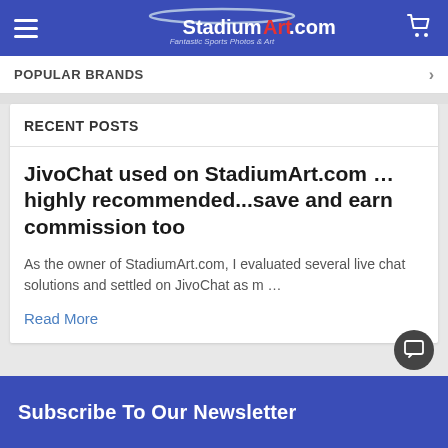StadiumArt.com — Fantastic Sports Photos & Art
POPULAR BRANDS
RECENT POSTS
JivoChat used on StadiumArt.com … highly recommended...save and earn commission too
As the owner of StadiumArt.com, I evaluated several live chat solutions and settled on JivoChat as m ...
Read More
Subscribe To Our Newsletter